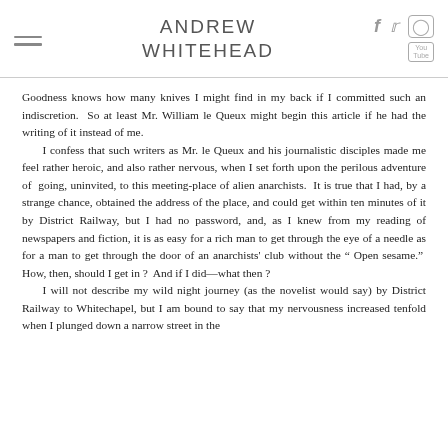ANDREW WHITEHEAD
Goodness knows how many knives I might find in my back if I committed such an indiscretion. So at least Mr. William le Queux might begin this article if he had the writing of it instead of me.
   I confess that such writers as Mr. le Queux and his journalistic disciples made me feel rather heroic, and also rather nervous, when I set forth upon the perilous adventure of going, uninvited, to this meeting-place of alien anarchists. It is true that I had, by a strange chance, obtained the address of the place, and could get within ten minutes of it by District Railway, but I had no password, and, as I knew from my reading of newspapers and fiction, it is as easy for a rich man to get through the eye of a needle as for a man to get through the door of an anarchists' club without the " Open sesame." How, then, should I get in ? And if I did—what then ?
   I will not describe my wild night journey (as the novelist would say) by District Railway to Whitechapel, but I am bound to say that my nervousness increased tenfold when I plunged down a narrow street in the